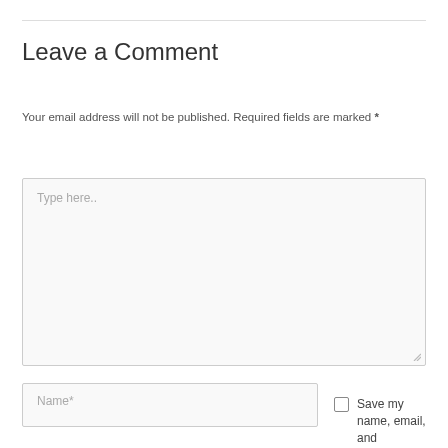Leave a Comment
Your email address will not be published. Required fields are marked *
[Figure (other): Comment text area input field with placeholder text 'Type here..' and resize handle]
[Figure (other): Name input field with placeholder 'Name*']
Save my name, email, and